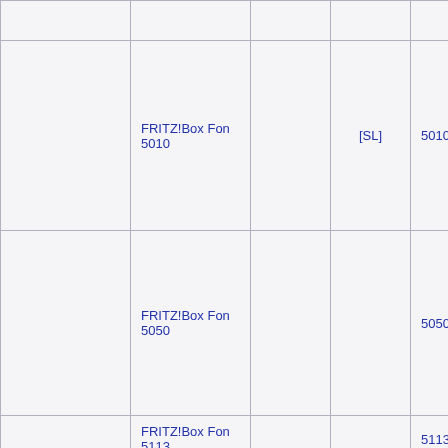|  |  |  |  |  |
| FRITZ!Box Fon 5010 |  | [SL] | 5010 |  |
| FRITZ!Box Fon 5050 |  |  | 5050 |  |
| FRITZ!Box Fon 5113 |  |  | 5113 |  |